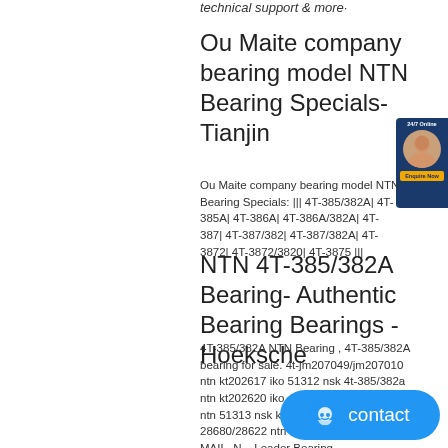technical support & more·
Ou Maite company bearing model NTN Bearing Specials- Tianjin
Ou Maite company bearing model NTN Bearing Specials: ||| 4T-385/382A| 4T-385A| 4T-386A| 4T-386A/382A| 4T-387| 4T-387/382| 4T-387/382A| 4T-3872| 4T-3872/3820| 4T-3875 |||
NTN 4T-385/382A Bearing- Authentic Bearing Bearings - Hoeksche
4T-385/382A NTN Bearing , 4T-385/382A bearing for sale. 4t-jm207049/jm207010 ntn kt202617 iko 51312 nsk 4t-385/382a ntn kt202620 iko 4t-jh307749/jh307710 ntn 51313 nsk kt202624 iko 4t-28680/28622 ntn . GET PRICE BY E-MAIL. N... Leader Bearing.